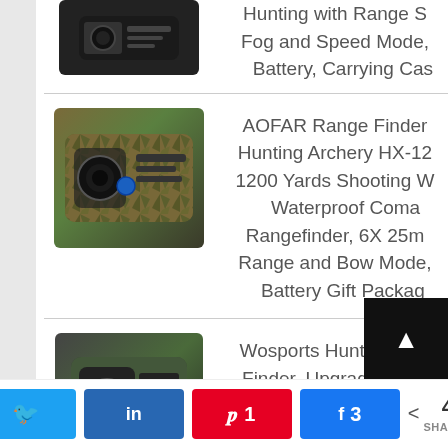[Figure (photo): Partial view of a black laser rangefinder device at the top of the page]
Hunting with Range S… Fog and Speed Mode, … Battery, Carrying Cas…
[Figure (photo): Camouflage-patterned AOFAR rangefinder with a blue button]
AOFAR Range Finder Hunting Archery HX-12 1200 Yards Shooting W… Waterproof Coma Rangefinder, 6X 25m Range and Bow Mode, Battery Gift Packag…
[Figure (photo): Green and black Wosports hunting rangefinder]
Wosports Hunting Ran… Finder, Upgraded Batt Cover - Laser Rangefin… for Archery Bow Hun… with Ranging, Flagp…
Twitter | in LinkedIn | Pinterest 1 | Facebook 3 | Share < 4 SHARES